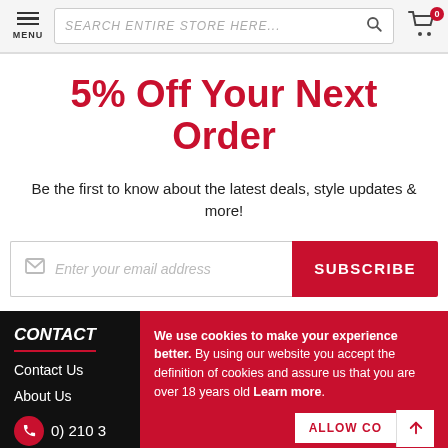MENU | SEARCH ENTIRE STORE HERE... | Cart: 0
5% Off Your Next Order
Be the first to know about the latest deals, style updates & more!
Enter your email address | SUBSCRIBE
CONTACT
Contact Us
About Us
(0) 210 3
We use cookies to make your experience better. By using our website you accept the definition of cookies and assure us that you are over 18 years old Learn more.
ALLOW CO | ↑